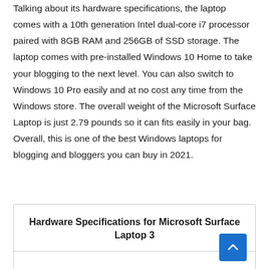Talking about its hardware specifications, the laptop comes with a 10th generation Intel dual-core i7 processor paired with 8GB RAM and 256GB of SSD storage. The laptop comes with pre-installed Windows 10 Home to take your blogging to the next level. You can also switch to Windows 10 Pro easily and at no cost any time from the Windows store. The overall weight of the Microsoft Surface Laptop is just 2.79 pounds so it can fits easily in your bag. Overall, this is one of the best Windows laptops for blogging and bloggers you can buy in 2021.
| Hardware Specifications for Microsoft Surface Laptop 3 |
| --- |